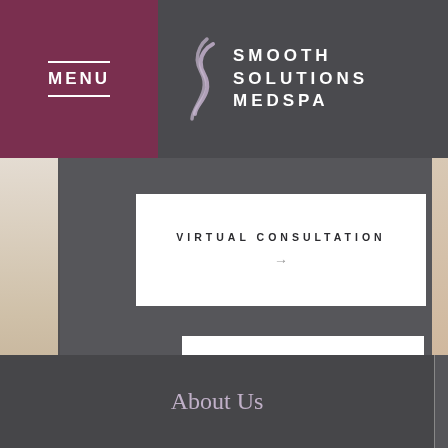MENU
[Figure (logo): Smooth Solutions MedSpa logo with stylized S curl and text SMOOTH SOLUTIONS MEDSPA]
VIRTUAL CONSULTATION →
BOOK NOW →
About Us